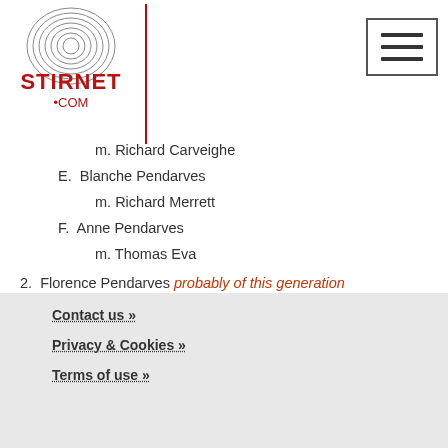Stirnet.com logo and navigation
m. Richard Carveighe
E. Blanche Pendarves
     m. Richard Merrett
F. Anne Pendarves
     m. Thomas Eva
2. Florence Pendarves probably of this generation
     m. (28.09.1549) John Williams of Probus
Main source(s): BLG1952 ('Pendarves of Pendarves'), Visitation (J.L. Vivian (1887), Cornwall, 1530+1573+1620+additions, 'Pendarves of Pendarves', p355+)
Back to top of page
Contact us »
Privacy & Cookies »
Terms of use »